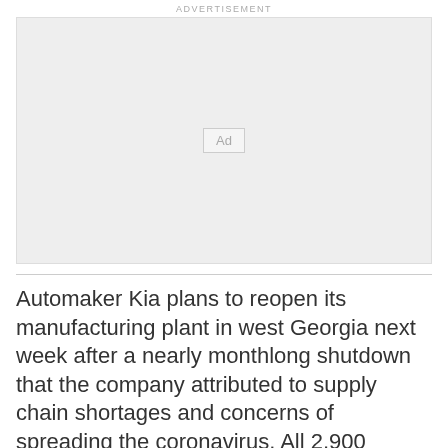ADVERTISEMENT
[Figure (other): Advertisement placeholder box with 'Ad' label in center]
Automaker Kia plans to reopen its manufacturing plant in west Georgia next week after a nearly monthlong shutdown that the company attributed to supply chain shortages and concerns of spreading the coronavirus. All 2,900 workers at Kia's plant